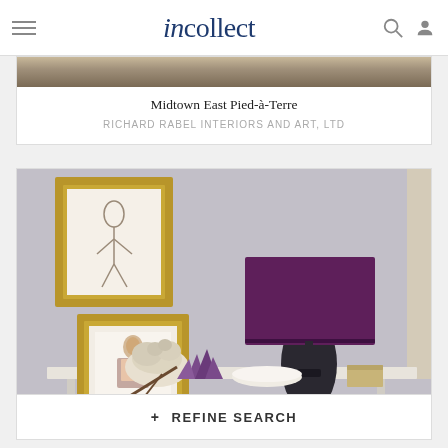incollect
Midtown East Pied-à-Terre
RICHARD RABEL INTERIORS AND ART, LTD
[Figure (photo): Interior room photo showing two gold-framed artworks on a gray wall, a dark glass lamp with a purple rectangular shade, and decorative objects on a white marble console table including a coral piece, amethyst crystal, white bowl, and small box.]
+ REFINE SEARCH